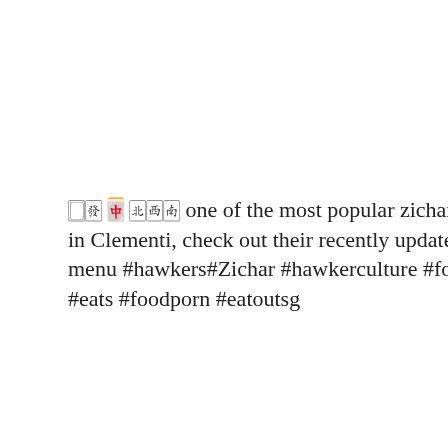🀆🀅🀄🀃🀂🀁 one of the most popular zichar stall in Clementi, check out their recently updated menu #hawkers#Zichar #hawkerculture #foodie #eats #foodporn #eatoutsg